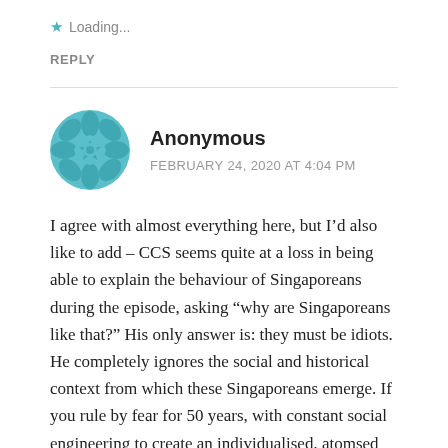Loading...
REPLY
Anonymous
FEBRUARY 24, 2020 AT 4:04 PM
I agree with almost everything here, but I’d also like to add – CCS seems quite at a loss in being able to explain the behaviour of Singaporeans during the episode, asking “why are Singaporeans like that?” His only answer is: they must be idiots. He completely ignores the social and historical context from which these Singaporeans emerge. If you rule by fear for 50 years, with constant social engineering to create an individualised, atomsed society, then of course people